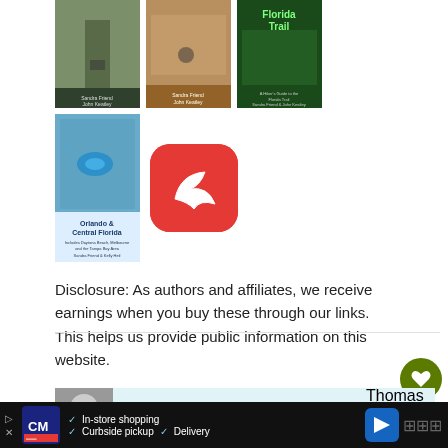[Figure (photo): Row of book covers: book 1 (boardwalk/swamp), book 2 (trail/cyclist), book 3 (Florida Trail green cover)]
[Figure (photo): Book cover: Orlando & Central Florida snorkeler's guide, and a red app icon with arrow/cursor logo]
Disclosure: As authors and affiliates, we receive earnings when you buy these through our links. This helps us provide public information on this website.
[Figure (infographic): Advertisement banner: My biggest fear was that I was going to age out and - Dave Thomas Foundation for Adoption]
[Figure (infographic): Bottom toolbar ad: CM store logo, In-store shopping, Curbside pickup, Delivery, arrow icon]